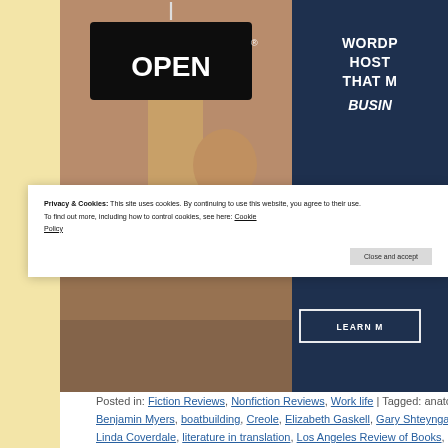[Figure (screenshot): Screenshot of a webpage showing a WordPress hosting advertisement banner with a photo of a woman holding an OPEN sign, dark navy right panel with text 'WORDPRESS HOSTING THAT MAKES BUSINESS...' and a 'LEARN M...' button.]
Posted in: Fiction Reviews, Nonfiction Reviews, Work life | Tagged: anatom... Benjamin Myers, boatbuilding, Creole, Elizabeth Gaskell, Gary Shteyngart, C... Linda Coverdale, literature in translation, Los Angeles Review of Books, Ma...
Privacy & Cookies: This site uses cookies. By continuing to use this website, you agree to their use. To find out more, including how to control cookies, see here: Cookie Policy
Close and accept